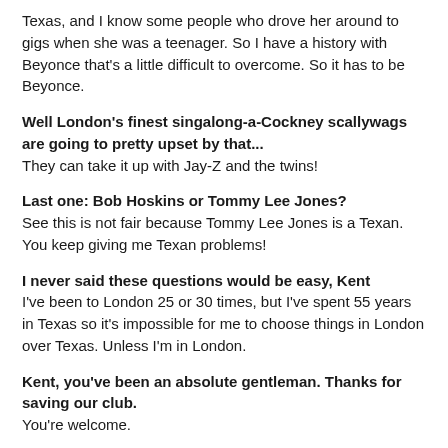Texas, and I know some people who drove her around to gigs when she was a teenager. So I have a history with Beyonce that's a little difficult to overcome. So it has to be Beyonce.
Well London's finest singalong-a-Cockney scallywags are going to pretty upset by that...
They can take it up with Jay-Z and the twins!
Last one: Bob Hoskins or Tommy Lee Jones?
See this is not fair because Tommy Lee Jones is a Texan. You keep giving me Texan problems!
I never said these questions would be easy, Kent
I've been to London 25 or 30 times, but I've spent 55 years in Texas so it's impossible for me to choose things in London over Texas. Unless I'm in London.
Kent, you've been an absolute gentleman. Thanks for saving our club.
You're welcome.